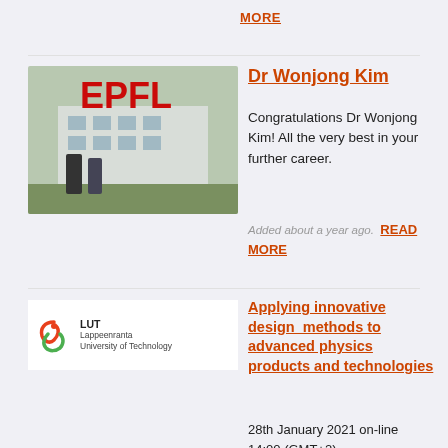MORE
[Figure (photo): Two people standing in front of an EPFL building sign with large red letters]
Dr Wonjong Kim
Congratulations Dr Wonjong Kim! All the very best in your further career.
Added about a year ago.  READ MORE
[Figure (logo): LUT Lappeenranta University of Technology logo]
Applying innovative design  methods to advanced physics products and technologies
28th January 2021 on-line 14:00 (GMT+2)